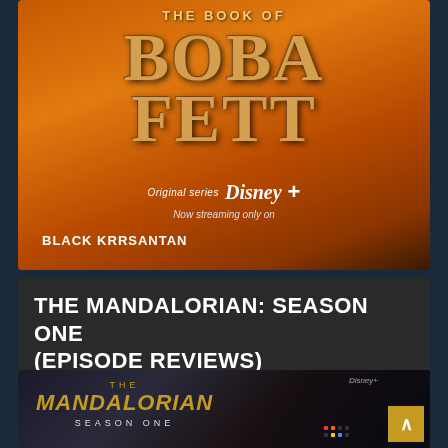[Figure (photo): The Book of Boba Fett Disney+ original series promotional image. Orange/red fiery sky background with stylized golden text 'THE BOOK OF BOBA FETT'. Text 'Original series' with Disney+ logo, 'Now streaming only on', and 'BLACK KRRSANTAN' at the bottom.]
THE MANDALORIAN: SEASON ONE (EPISODE REVIEWS)
[Figure (photo): The Mandalorian Season One Disney+ promotional image. Dark background showing 'THE MANDALORIAN SEASON ONE' text in gold on the left side. Right side shows armored Mandalorian figure in dark helmet. Disney+ logo in top right. Gold scroll-up button in bottom right corner.]